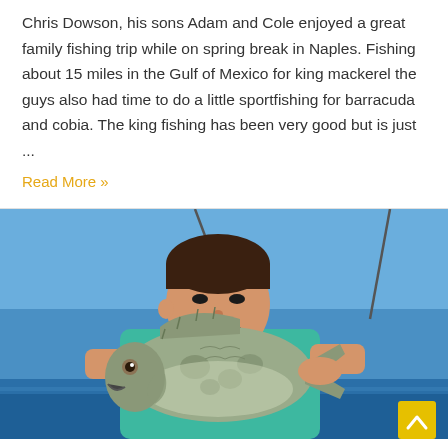Chris Dowson, his sons Adam and Cole enjoyed a great family fishing trip while on spring break in Naples. Fishing about 15 miles in the Gulf of Mexico for king mackerel the guys also had time to do a little sportfishing for barracuda and cobia. The king fishing has been very good but is just ...
Read More »
[Figure (photo): A smiling young boy holding a large grouper fish on a boat, blue sky and ocean in the background. He is wearing a teal shirt.]